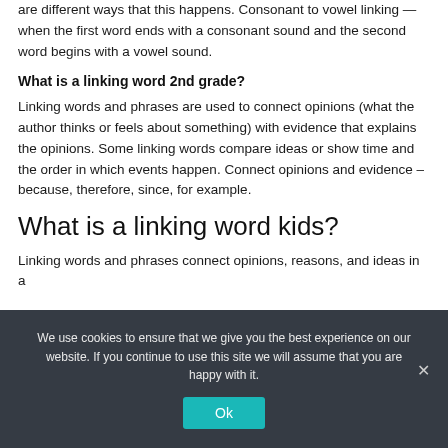are different ways that this happens. Consonant to vowel linking — when the first word ends with a consonant sound and the second word begins with a vowel sound.
What is a linking word 2nd grade?
Linking words and phrases are used to connect opinions (what the author thinks or feels about something) with evidence that explains the opinions. Some linking words compare ideas or show time and the order in which events happen. Connect opinions and evidence – because, therefore, since, for example.
What is a linking word kids?
Linking words and phrases connect opinions, reasons, and ideas in a
We use cookies to ensure that we give you the best experience on our website. If you continue to use this site we will assume that you are happy with it.